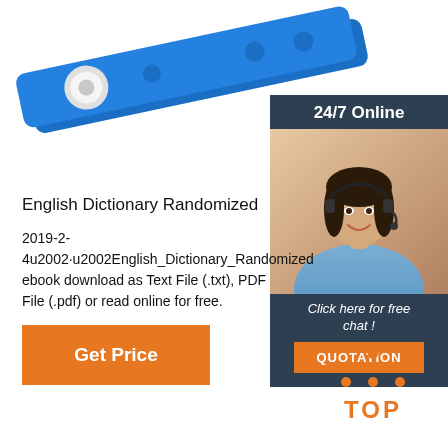[Figure (photo): Blue plastic wristband/bracelet with white snap button and holes, photographed on white background]
[Figure (infographic): 24/7 Online chat support panel with dark blue/grey background, woman with headset, 'Click here for free chat!' text and orange QUOTATION button]
English Dictionary Randomized
2019-2-4u2002·u2002English_Dictionary_Randomized ebook download as Text File (.txt), PDF File (.pdf) or read online for free.
[Figure (other): Orange 'Get Price' button]
[Figure (other): Orange TOP icon with dots above text arranged in triangle pattern]